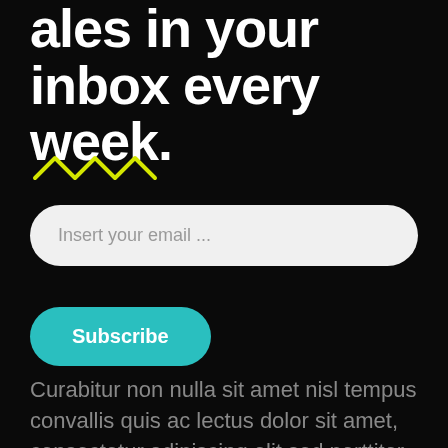ales in your inbox every week.
[Figure (illustration): Yellow squiggly wave decorative line]
Insert your email ...
Subscribe
Curabitur non nulla sit amet nisl tempus convallis quis ac lectus dolor sit amet, consectetur adipiscing elit sed porttitor